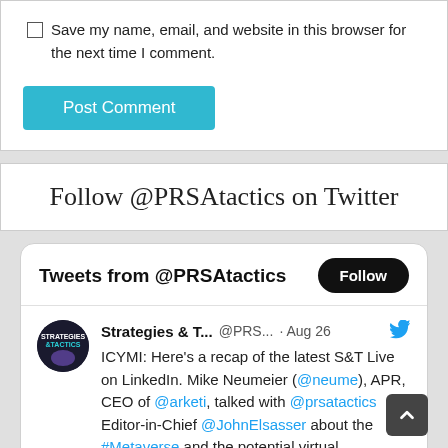Save my name, email, and website in this browser for the next time I comment.
Post Comment
Follow @PRSAtactics on Twitter
[Figure (screenshot): Twitter widget showing Tweets from @PRSAtactics with a Follow button and a tweet from Strategies & T... @PRS... Aug 26: ICYMI: Here's a recap of the latest S&T Live on LinkedIn. Mike Neumeier (@neume), APR, CEO of @arketi, talked with @prsatactics Editor-in-Chief @JohnElsasser about the #Metaverse and the potential virtual opportunities for PR pros: bit.ly/3KIQ8wl]